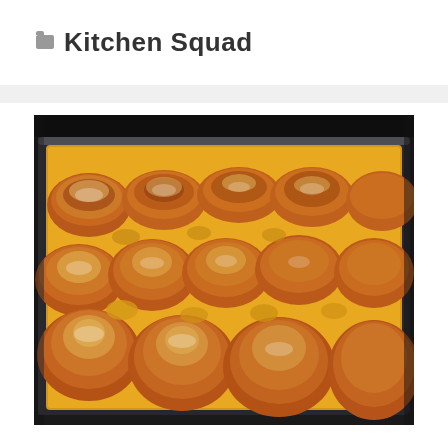Kitchen Squad
[Figure (photo): A glass baking dish filled with golden-brown baked croissant rolls dusted with powdered sugar, photographed from a slightly elevated angle inside what appears to be an oven or on a dark surface.]